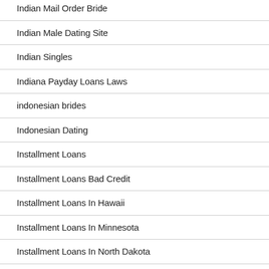Indian Mail Order Bride
Indian Male Dating Site
Indian Singles
Indiana Payday Loans Laws
indonesian brides
Indonesian Dating
Installment Loans
Installment Loans Bad Credit
Installment Loans In Hawaii
Installment Loans In Minnesota
Installment Loans In North Dakota
Installment Loans In Oregon